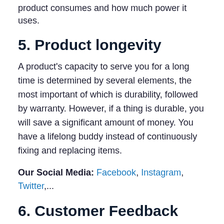product consumes and how much power it uses.
5. Product longevity
A product's capacity to serve you for a long time is determined by several elements, the most important of which is durability, followed by warranty. However, if a thing is durable, you will save a significant amount of money. You have a lifelong buddy instead of continuously fixing and replacing items.
Our Social Media: Facebook, Instagram, Twitter,...
6. Customer Feedback
Consumers may now rate products on the app and through the product sales channel. You may pick a product with a 5-star rating above 4.5 stars based on a 5-star rating.